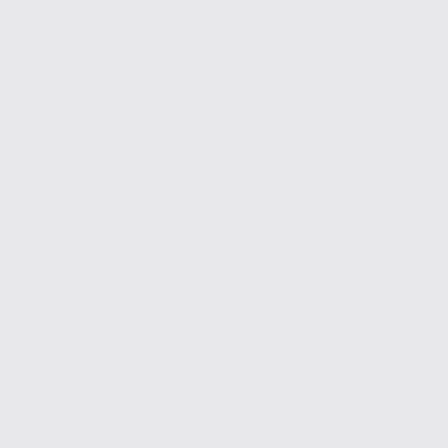Road Running/U... (partial, top)
Oct 6 2018 — MEC Vancouver SIX 5K/10K — Belcarra, BC Ca... — X-Country/Trail
Sep 29-30 2018 — Bondarchuk C... Meet — Kamloops, BC C... — Track & Field
Sep 23 2018 — That Dam Run... — Hudson's Hope... — Road Running/U...
Sep 15 2018 — Frosty Mount... 50k, 27k, 13k — Manning Park,... — X-Country/Trail
Sep 11-15 2018 — 55+ BC Senior... — Cranbrook, BC... — Track & Field